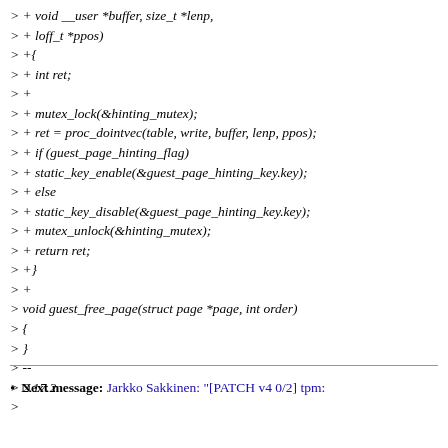> + void __user *buffer, size_t *lenp,
> + loff_t *ppos)
> +{
> + int ret;
> +
> + mutex_lock(&hinting_mutex);
> + ret = proc_dointvec(table, write, buffer, lenp, ppos);
> + if (guest_page_hinting_flag)
> + static_key_enable(&guest_page_hinting_key.key);
> + else
> + static_key_disable(&guest_page_hinting_key.key);
> + mutex_unlock(&hinting_mutex);
> + return ret;
> +}
> +
> void guest_free_page(struct page *page, int order)
> {
> }
> --
> 2.17.2
>
Next message: Jarkko Sakkinen: "[PATCH v4 0/2] tpm: